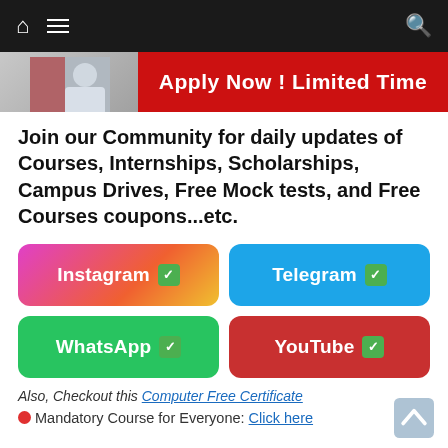Navigation bar with home, menu, and search icons
[Figure (infographic): Banner with person image on left and red 'Apply Now! Limited Time' text on right]
Join our Community for daily updates of Courses, Internships, Scholarships, Campus Drives, Free Mock tests, and Free Courses coupons...etc.
[Figure (infographic): Four social media buttons: Instagram, Telegram, WhatsApp, YouTube]
Also, Checkout this Computer Free Certificate
Mandatory Course for Everyone: Click here